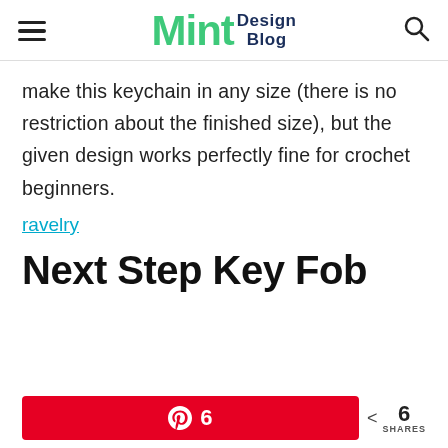Mint Design Blog
make this keychain in any size (there is no restriction about the finished size), but the given design works perfectly fine for crochet beginners.
ravelry
Next Step Key Fob
6  SHARES